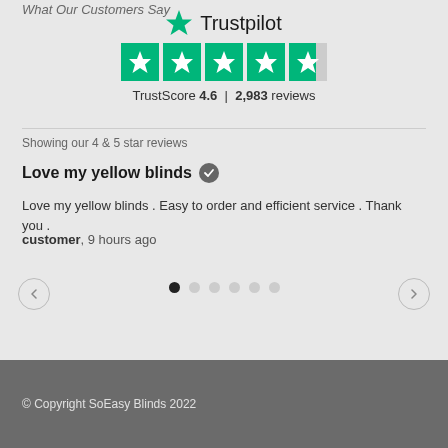What Our Customers Say
[Figure (logo): Trustpilot logo with green star and text]
[Figure (other): 4.5 green star rating boxes]
TrustScore 4.6 | 2,983 reviews
Showing our 4 & 5 star reviews
Love my yellow blinds
Love my yellow blinds . Easy to order and efficient service . Thank you .
customer, 9 hours ago
© Copyright SoEasy Blinds 2022